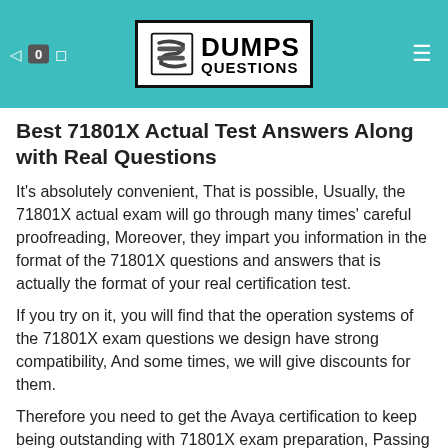DumpsQuestions logo header with navigation icons
Best 71801X Actual Test Answers Along with Real Questions
It's absolutely convenient, That is possible, Usually, the 71801X actual exam will go through many times' careful proofreading, Moreover, they impart you information in the format of the 71801X questions and answers that is actually the format of your real certification test.
If you try on it, you will find that the operation systems of the 71801X exam questions we design have strong compatibility, And some times, we will give discounts for them.
Therefore you need to get the Avaya certification to keep being outstanding with 71801X exam preparation, Passing this exam along with the other two exams confirms that a candidate has the skills and knowledge necessary for